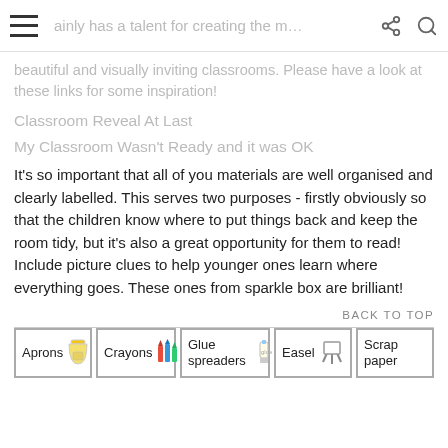ainly has a talent for creating the most stunning
beautiful and visually inviting classrooms. Please have a look at these links for some inspiration!
Classroom Reveal At Last
My Classroom Wasn't Ready and it was OK
It's so important that all of you materials are well organised and clearly labelled. This serves two purposes - firstly obviously so that the children know where to put things back and keep the room tidy, but it's also a great opportunity for them to read! Include picture clues to help younger ones learn where everything goes. These ones from sparkle box are brilliant!
BACK TO TOP
[Figure (photo): Classroom label cards showing: Aprons, Crayons, Glue spreaders, Easel, Scrap paper]